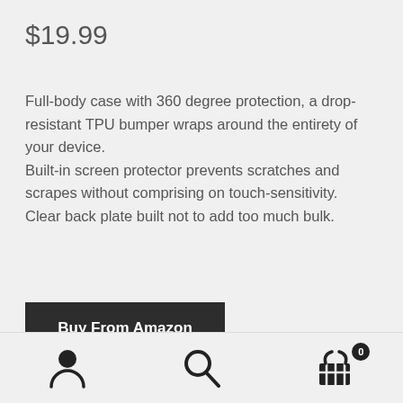$19.99
Full-body case with 360 degree protection, a drop-resistant TPU bumper wraps around the entirety of your device.
Built-in screen protector prevents scratches and scrapes without comprising on touch-sensitivity.
Clear back plate built not to add too much bulk.
Buy From Amazon
Categories: Basic Cases, Cases, Holsters and Sleeves, Cell